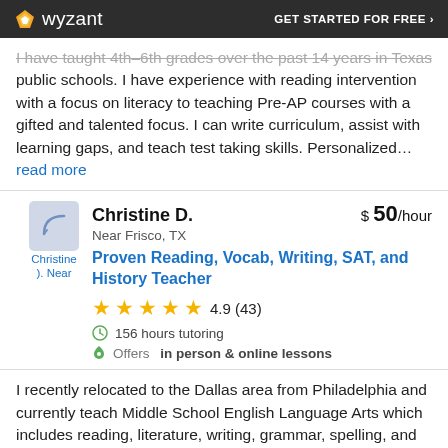wyzant | GET STARTED FOR FREE ›
I have taught 4th-6th grades over the past 14 years in Texas public schools. I have experience with reading intervention with a focus on literacy to teaching Pre-AP courses with a gifted and talented focus. I can write curriculum, assist with learning gaps, and teach test taking skills. Personalized... read more
Christine D. | Near Frisco, TX | $50/hour
Proven Reading, Vocab, Writing, SAT, and History Teacher
4.9 (43)
156 hours tutoring
Offers in person & online lessons
I recently relocated to the Dallas area from Philadelphia and currently teach Middle School English Language Arts which includes reading, literature, writing, grammar, spelling, and